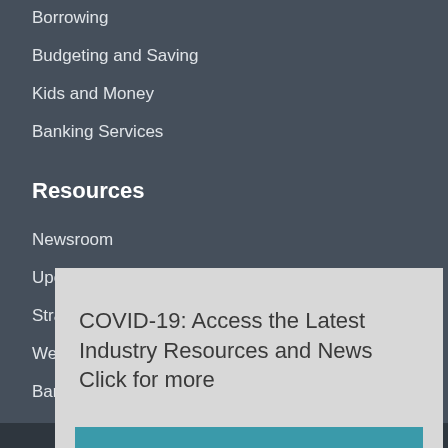Borrowing
Budgeting and Saving
Kids and Money
Banking Services
Resources
Newsroom
Upcoming Programs
Strategic Partners
Webinars
BankTalentHQ
COVID-19: Access the Latest Industry Resources and News  Click for more
Got it!